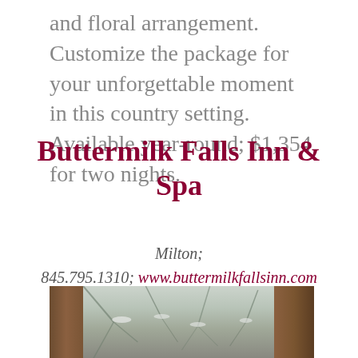and floral arrangement. Customize the package for your unforgettable moment in this country setting. Available year-round; $1,354 for two nights.
Buttermilk Falls Inn & Spa
Milton; 845.795.1310; www.buttermilkfallsinn.com
[Figure (photo): Winter forest scene with large tree trunks in foreground and snow-covered branches in background]